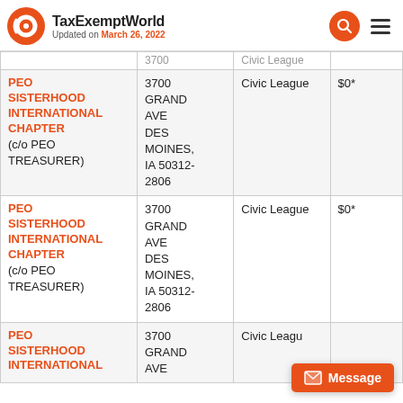TaxExemptWorld — Updated on March 26, 2022
| Organization | Address | Category | Revenue |
| --- | --- | --- | --- |
| PEO SISTERHOOD INTERNATIONAL CHAPTER (c/o PEO TREASURER) | 3700 GRAND AVE DES MOINES, IA 50312-2806 | Civic League | $0* |
| PEO SISTERHOOD INTERNATIONAL CHAPTER (c/o PEO TREASURER) | 3700 GRAND AVE DES MOINES, IA 50312-2806 | Civic League | $0* |
| PEO SISTERHOOD INTERNATIONAL CHAPTER (c/o PEO TREASURER) | 3700 GRAND AVE ... | Civic League | ... |